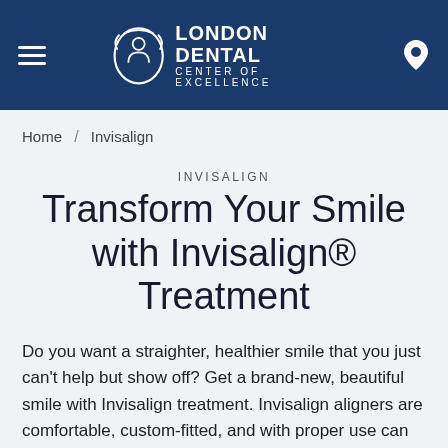[Figure (logo): London Dental Center of Excellence logo with icon and text in white on dark blue header bar]
Home / Invisalign
INVISALIGN
Transform Your Smile with Invisalign® Treatment
Do you want a straighter, healthier smile that you just can't help but show off? Get a brand-new, beautiful smile with Invisalign treatment. Invisalign aligners are comfortable, custom-fitted, and with proper use can help you get the smile results you